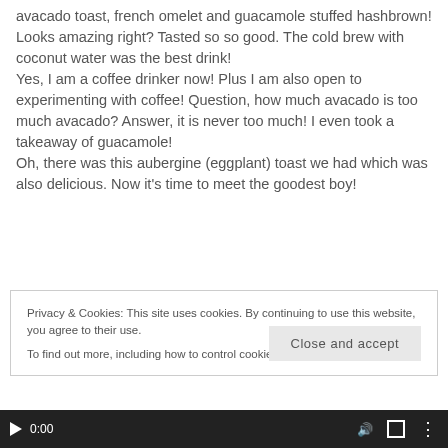avacado toast, french omelet and guacamole stuffed hashbrown!
Looks amazing right? Tasted so so good. The cold brew with coconut water was the best drink!
Yes, I am a coffee drinker now! Plus I am also open to experimenting with coffee! Question, how much avacado is too much avacado? Answer, it is never too much! I even took a takeaway of guacamole!
Oh, there was this aubergine (eggplant) toast we had which was also delicious. Now it's time to meet the goodest boy!
Privacy & Cookies: This site uses cookies. By continuing to use this website, you agree to their use.
To find out more, including how to control cookies, see here: Cookie Policy
Close and accept